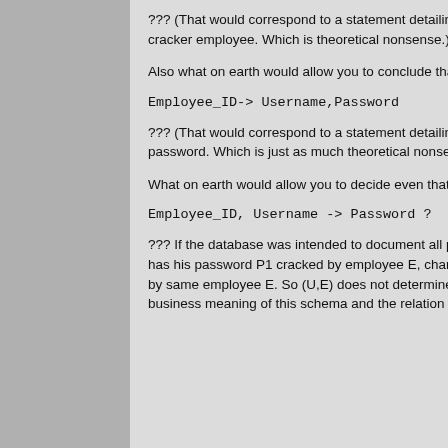??? (That would correspond to a statement detailing that no user's password can ever be cracked by more than one cracker employee. Which is theoretical nonsense.)
Also what on earth would allow you to conclude that
Employee_ID-> Username,Password
??? (That would correspond to a statement detailing that no employee can crack more than one other user's password. Which is just as much theoretical nonsense.)
What on earth would allow you to decide even that
Employee_ID, Username -> Password ?
??? If the database was intended to document all past password cracks, then it might perfectly be that some user U has his password P1 cracked by employee E, changes his password to P2 and later has that password too cracked by same employee E. So (U,E) does not determine any P. In fact there ***are no FD's at all*** if that's the particular business meaning of this schema and the relation schema is all-key.